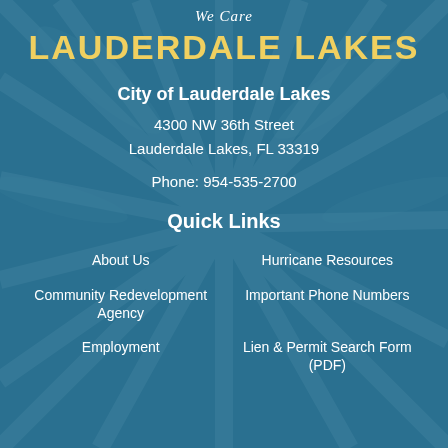We Care
LAUDERDALE LAKES
City of Lauderdale Lakes
4300 NW 36th Street
Lauderdale Lakes, FL 33319
Phone: 954-535-2700
Quick Links
About Us
Hurricane Resources
Community Redevelopment Agency
Important Phone Numbers
Employment
Lien & Permit Search Form (PDF)